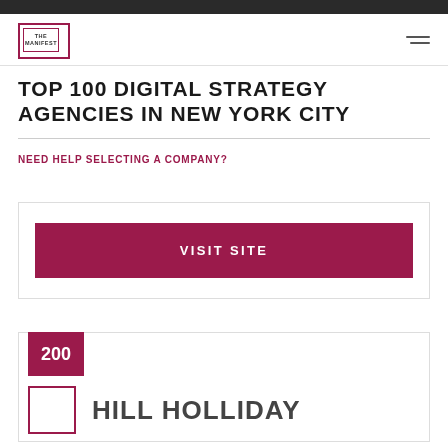The Manifest
TOP 100 DIGITAL STRATEGY AGENCIES IN NEW YORK CITY
NEED HELP SELECTING A COMPANY?
VISIT SITE
200
HILL HOLLIDAY